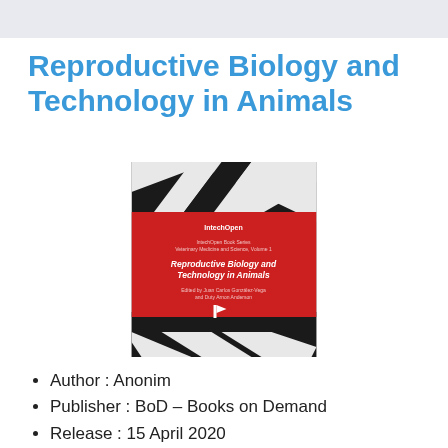Reproductive Biology and Technology in Animals
[Figure (photo): Book cover of 'Reproductive Biology and Technology in Animals' – IntechOpen publication, red cover with zebra stripe background]
Author : Anonim
Publisher : BoD – Books on Demand
Release : 15 April 2020